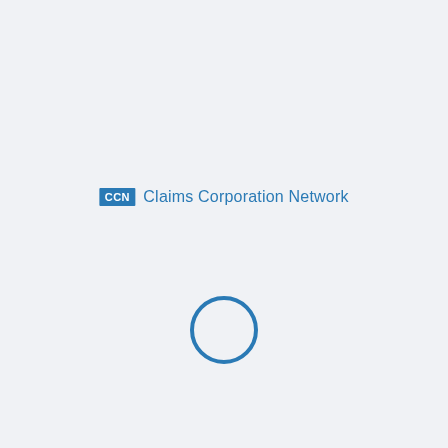[Figure (logo): CCN Claims Corporation Network logo — a blue rectangle with white text 'CCN' followed by the text 'Claims Corporation Network' in blue]
[Figure (other): A circular loading spinner icon in blue outline, centered on the lower half of the page]